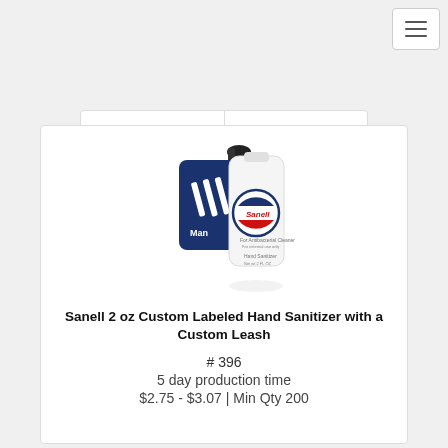[Figure (screenshot): Hamburger menu button (three horizontal lines) in top right corner]
[Figure (screenshot): Tab bar with cart icon on left and grid/list icon on right]
[Figure (photo): Sanell 2 oz hand sanitizer bottle with a custom navy blue leash/neoprene pouch and black carabiner clip]
Sanell 2 oz Custom Labeled Hand Sanitizer with a Custom Leash
# 396
5 day production time
$2.75 - $3.07 | Min Qty 200